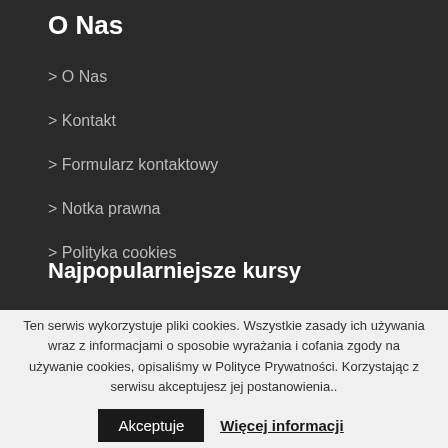O Nas
O Nas
Kontakt
Formularz kontaktowy
Notka prawna
Polityka cookies
Najpopularniejsze kursy
Ten serwis wykorzystuje pliki cookies. Wszystkie zasady ich używania wraz z informacjami o sposobie wyrażania i cofania zgody na używanie cookies, opisaliśmy w Polityce Prywatności. Korzystając z serwisu akceptujesz jej postanowienia..
Akceptuje  Więcej informacji